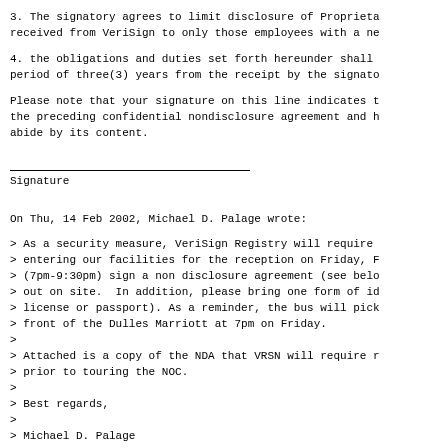3. The signatory agrees to limit disclosure of Proprieta received from VeriSign to only those employees with a ne
4. the obligations and duties set forth hereunder shall period of three(3) years from the receipt by the signato
Please note that your signature on this line indicates t the preceding confidential nondisclosure agreement and h abide by its content.
_________________________________
Signature
On Thu, 14 Feb 2002, Michael D. Palage wrote:
> As a security measure, VeriSign Registry will require
> entering our facilities for the reception on Friday, F
> (7pm-9:30pm) sign a non disclosure agreement (see belo
> out on site.  In addition, please bring one form of id
> license or passport). As a reminder, the bus will pick
> front of the Dulles Marriott at 7pm on Friday.
>
> Attached is a copy of the NDA that VRSN will require r
> prior to touring the NOC.
>
> Best regards,
>
> Michael D. Palage